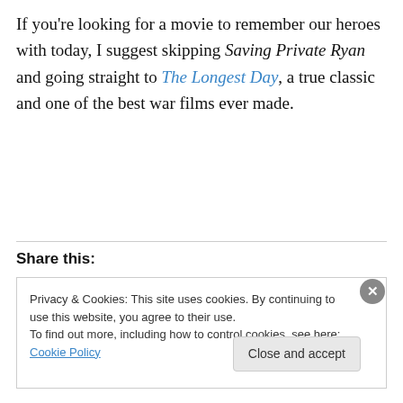If you're looking for a movie to remember our heroes with today, I suggest skipping Saving Private Ryan and going straight to The Longest Day, a true classic and one of the best war films ever made.
Share this:
Privacy & Cookies: This site uses cookies. By continuing to use this website, you agree to their use.
To find out more, including how to control cookies, see here: Cookie Policy